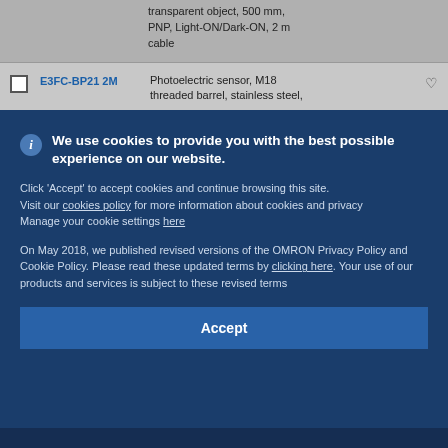transparent object, 500 mm, PNP, Light-ON/Dark-ON, 2 m cable
|  | Model | Description |  |
| --- | --- | --- | --- |
| ☐ | E3FC-BP21 2M | Photoelectric sensor, M18 threaded barrel, stainless steel, | ♡ |
We use cookies to provide you with the best possible experience on our website. Click 'Accept' to accept cookies and continue browsing this site. Visit our cookies policy for more information about cookies and privacy. Manage your cookie settings here. On May 2018, we published revised versions of the OMRON Privacy Policy and Cookie Policy. Please read these updated terms by clicking here. Your use of our products and services is subject to these revised terms